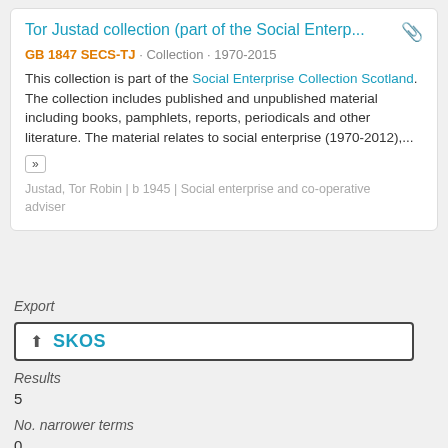Tor Justad collection (part of the Social Enterp...
GB 1847 SECS-TJ · Collection · 1970-2015
This collection is part of the Social Enterprise Collection Scotland. The collection includes published and unpublished material including books, pamphlets, reports, periodicals and other literature. The material relates to social enterprise (1970-2012),...
Justad, Tor Robin | b 1945 | Social enterprise and co-operative adviser
Export
SKOS
Results
5
No. narrower terms
0